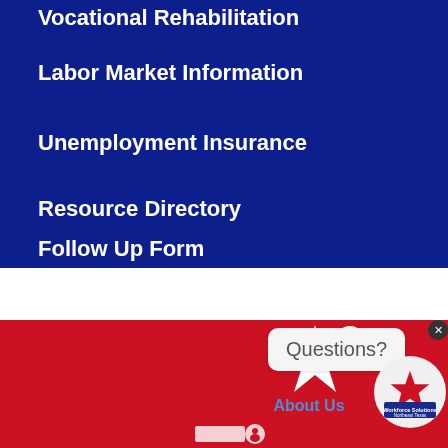Vocational Rehabilitation
Labor Market Information
Unemployment Insurance
Resource Directory
Follow Up Form
[Figure (illustration): White star with person icon and 'About Us' label on red background]
About Us
Questions?
[Figure (logo): Workforce Solutions Northeast Texas circular logo]